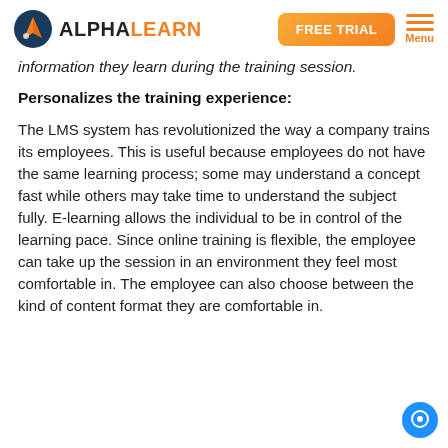ALPHALEARN | FREE TRIAL | Menu
information they learn during the training session.
Personalizes the training experience:
The LMS system has revolutionized the way a company trains its employees. This is useful because employees do not have the same learning process; some may understand a concept fast while others may take time to understand the subject fully. E-learning allows the individual to be in control of the learning pace. Since online training is flexible, the employee can take up the session in an environment they feel most comfortable in. The employee can also choose between the kind of content format they are comfortable in.